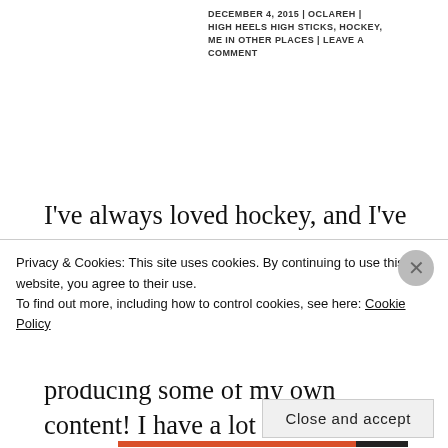DECEMBER 4, 2015 | OCLAREH | HIGH HEELS HIGH STICKS, HOCKEY, ME IN OTHER PLACES | LEAVE A COMMENT
I've always loved hockey, and I've been an active member of Hockey Twitter for several years, but recently I've taken steps into contributing more actively and producing some of my own content! I have a lot of fun watching games and discussing them with my friends, but felt drawn to start
Privacy & Cookies: This site uses cookies. By continuing to use this website, you agree to their use.
To find out more, including how to control cookies, see here: Cookie Policy
Close and accept